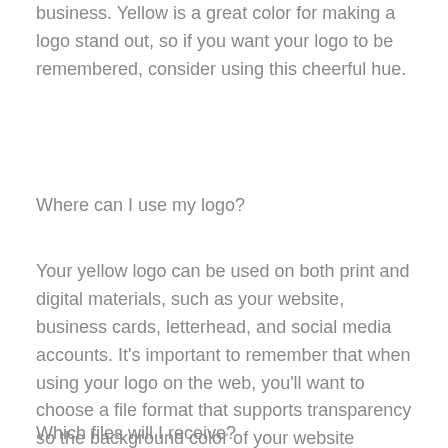business. Yellow is a great color for making a logo stand out, so if you want your logo to be remembered, consider using this cheerful hue.
Where can I use my logo?
Your yellow logo can be used on both print and digital materials, such as your website, business cards, letterhead, and social media accounts. It's important to remember that when using your logo on the web, you'll want to choose a file format that supports transparency so the background color of your website doesn't affect the appearance of your logo.
Which files will I receive?